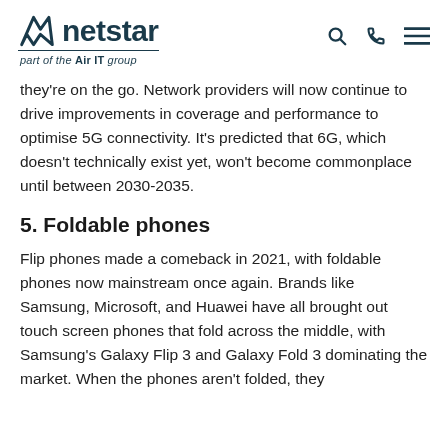netstar — part of the Air IT group
they're on the go. Network providers will now continue to drive improvements in coverage and performance to optimise 5G connectivity. It's predicted that 6G, which doesn't technically exist yet, won't become commonplace until between 2030-2035.
5. Foldable phones
Flip phones made a comeback in 2021, with foldable phones now mainstream once again. Brands like Samsung, Microsoft, and Huawei have all brought out touch screen phones that fold across the middle, with Samsung's Galaxy Flip 3 and Galaxy Fold 3 dominating the market. When the phones aren't folded, they